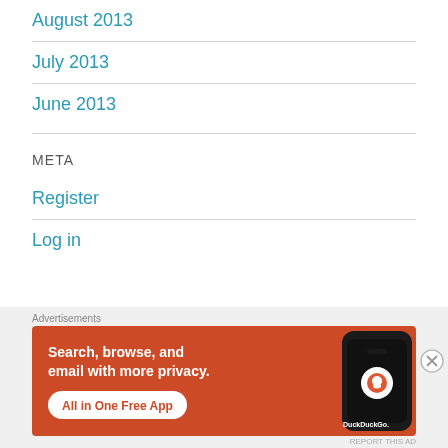August 2013
July 2013
June 2013
META
Register
Log in
[Figure (screenshot): DuckDuckGo advertisement banner showing 'Search, browse, and email with more privacy. All in One Free App' with a phone mockup and DuckDuckGo logo, on an orange/red background. Overlaid with 'Advertisements' label and a close button.]